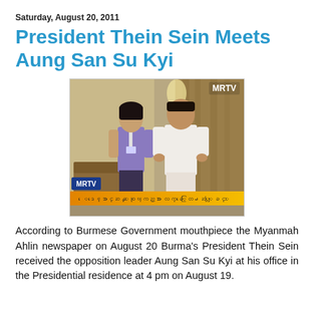Saturday, August 20, 2011
President Thein Sein Meets Aung San Su Kyi
[Figure (photo): MRTV television screenshot showing two people standing together — a woman in a purple top wearing a lanyard, and a man in traditional white clothing — inside an ornate room. An MRTV watermark appears in the top right and an MRTV chyron with Burmese-script text appears at the bottom.]
According to Burmese Government mouthpiece the Myanmah Ahlin newspaper on August 20 Burma's President Thein Sein received the opposition leader Aung San Su Kyi at his office in the Presidential residence at 4 pm on August 19.